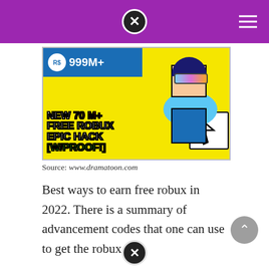[Figure (illustration): Roblox promotional image with yellow background showing a Roblox character wearing blue scarf and sunglasses. Top shows a blue bar with Robux icon and '999M+'. Text reads: NEW 70 M+ FREE ROBUX EPIC HACK [W/PROOF!] with a cursor hand icon.]
Source: www.dramatoon.com
Best ways to earn free robux in 2022. There is a summary of advancement codes that one can use to get the robux.